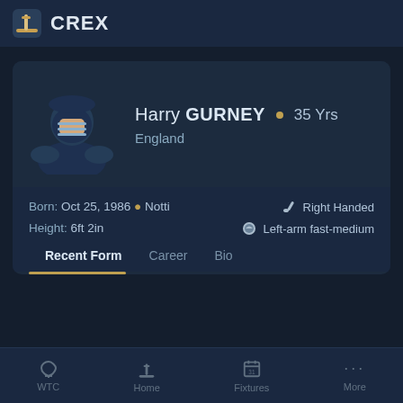CREX
Harry GURNEY • 35 Yrs
England
Born: Oct 25, 1986 • Notti
Height: 6ft 2in
Right Handed
Left-arm fast-medium
Recent Form	Career	Bio
WTC  Home  Fixtures  More